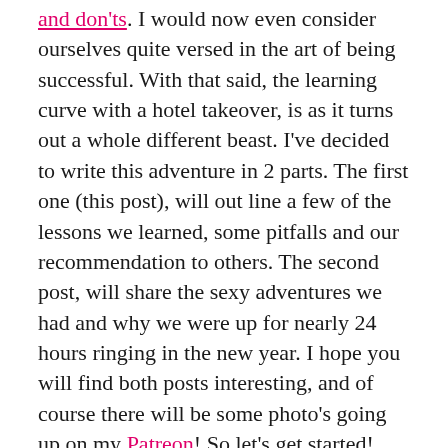and don'ts. I would now even consider ourselves quite versed in the art of being successful. With that said, the learning curve with a hotel takeover, is as it turns out a whole different beast.  I've decided to write this adventure in 2 parts.  The first one (this post), will out line a few of the lessons we learned, some pitfalls and our recommendation to others.  The second post, will share the sexy adventures we had and why we were up for nearly 24 hours ringing in the new year.  I hope you will find both posts interesting, and of course there will be some photo's going up on my Patreon! So let's get started!
Every year, my partner and I look for a way to